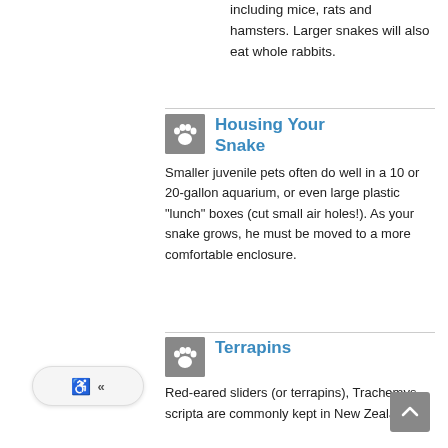including mice, rats and hamsters. Larger snakes will also eat whole rabbits.
Housing Your Snake
Smaller juvenile pets often do well in a 10 or 20-gallon aquarium, or even large plastic "lunch" boxes (cut small air holes!). As your snake grows, he must be moved to a more comfortable enclosure.
Terrapins
Red-eared sliders (or terrapins), Trachemys scripta are commonly kept in New Zealand